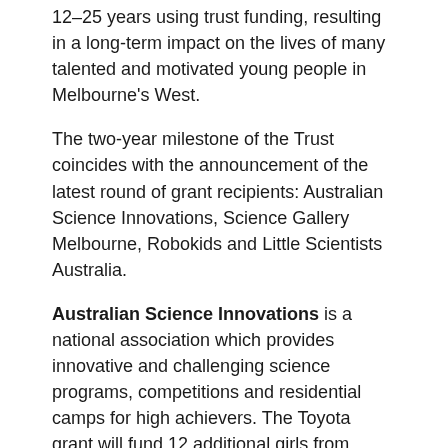12–25 years using trust funding, resulting in a long-term impact on the lives of many talented and motivated young people in Melbourne's West.
The two-year milestone of the Trust coincides with the announcement of the latest round of grant recipients: Australian Science Innovations, Science Gallery Melbourne, Robokids and Little Scientists Australia.
Australian Science Innovations is a national association which provides innovative and challenging science programs, competitions and residential camps for high achievers. The Toyota grant will fund 12 additional girls from Melbourne's West to attend the Curious Minds Program, a national girls-only program that combines two residential camps with a six-month STEM coaching program.
Science Gallery Melbourne is a dynamic new model for